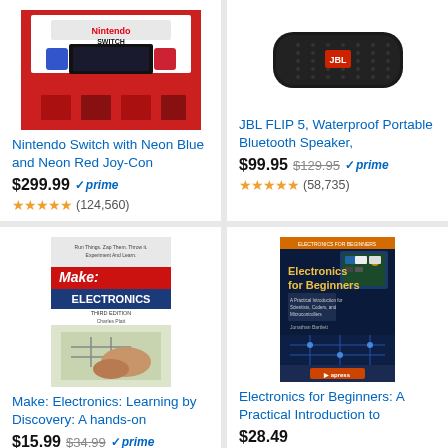[Figure (photo): Nintendo Switch console box with Neon Blue and Neon Red Joy-Con controllers]
Nintendo Switch with Neon Blue and Neon Red Joy-Con
$299.99 prime (124,560) reviews
[Figure (photo): JBL FLIP 5 portable Bluetooth speaker in black]
JBL FLIP 5, Waterproof Portable Bluetooth Speaker,
$99.95 $129.95 prime (58,735) reviews
[Figure (photo): Make: Electronics: Learning by Discovery book cover]
Make: Electronics: Learning by Discovery: A hands-on
$15.99 $34.99 prime (185) reviews
[Figure (photo): Electronics for Beginners: A Practical Introduction to book cover]
Electronics for Beginners: A Practical Introduction to
$28.49 (187) reviews